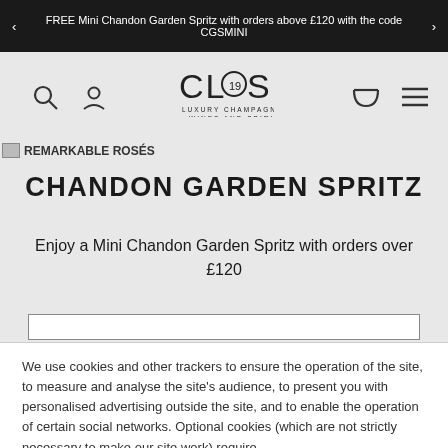FREE Mini Chandon Garden Spritz with orders above £120 with the code CGSMINI
[Figure (logo): CLOS19 Luxury Champagne, Wines and Spirits logo with circular 19 design]
[Figure (photo): REMARKABLE ROSÉS image placeholder]
CHANDON GARDEN SPRITZ
Enjoy a Mini Chandon Garden Spritz with orders over £120
We use cookies and other trackers to ensure the operation of the site, to measure and analyse the site's audience, to present you with personalised advertising outside the site, and to enable the operation of certain social networks. Optional cookies (which are not strictly necessary to make our site work) require